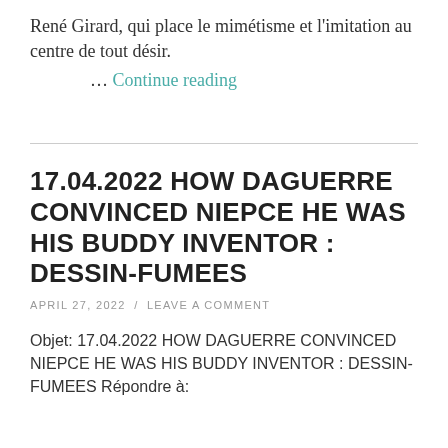René Girard, qui place le mimétisme et l'imitation au centre de tout désir.
… Continue reading
17.04.2022 HOW DAGUERRE CONVINCED NIEPCE HE WAS HIS BUDDY INVENTOR : DESSIN-FUMEES
APRIL 27, 2022 / LEAVE A COMMENT
Objet: 17.04.2022 HOW DAGUERRE CONVINCED NIEPCE HE WAS HIS BUDDY INVENTOR : DESSIN-FUMEES Répondre à: